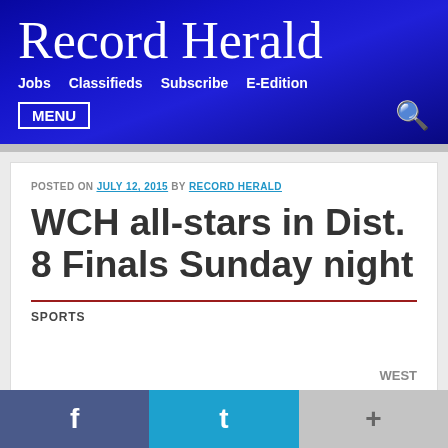Record Herald
Jobs  Classifieds  Subscribe  E-Edition
MENU
POSTED ON JULY 12, 2015 BY RECORD HERALD
WCH all-stars in Dist. 8 Finals Sunday night
SPORTS
WEST